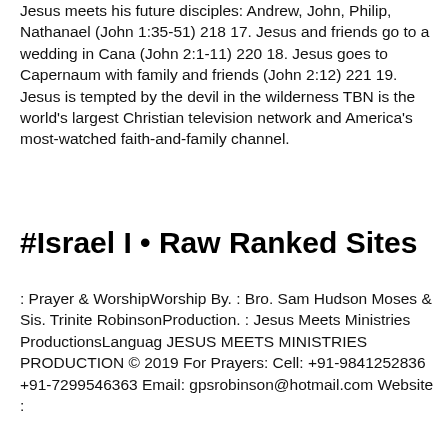Jesus meets his future disciples: Andrew, John, Philip, Nathanael (John 1:35-51) 218 17. Jesus and friends go to a wedding in Cana (John 2:1-11) 220 18. Jesus goes to Capernaum with family and friends (John 2:12) 221 19. Jesus is tempted by the devil in the wilderness TBN is the world's largest Christian television network and America's most-watched faith-and-family channel.
#Israel I • Raw Ranked Sites
: Prayer & WorshipWorship By. : Bro. Sam Hudson Moses & Sis. Trinite RobinsonProduction. : Jesus Meets Ministries ProductionsLanguag JESUS MEETS MINISTRIES PRODUCTION © 2019 For Prayers: Cell: +91-9841252836 +91-7299546363 Email: gpsrobinson@hotmail.com Website :